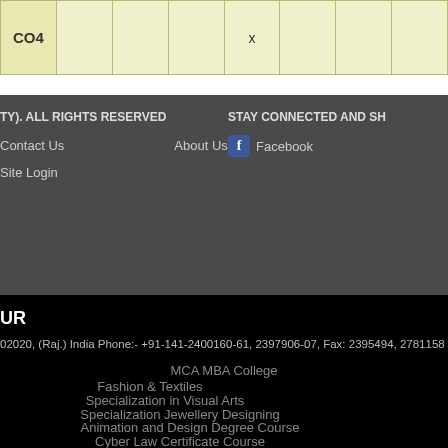| CO4 |  |  |  | x |  |  |  |
| --- | --- | --- | --- | --- | --- | --- | --- |
TY). ALL RIGHTS RESERVED
STAY CONNECTED AND SH...
Contact Us   About Us
Site Login
Facebook
UR
02020, (Raj.) India Phone:- +91-141-2400160-61, 2397906-07, Fax: 2395494, 2781158
MCA MBA College
Fashion & Textiles
Specialization in Visual Arts
Specialization Jewellery Designing
Animation and Design Degree Course
Cyber Law Certificate Course